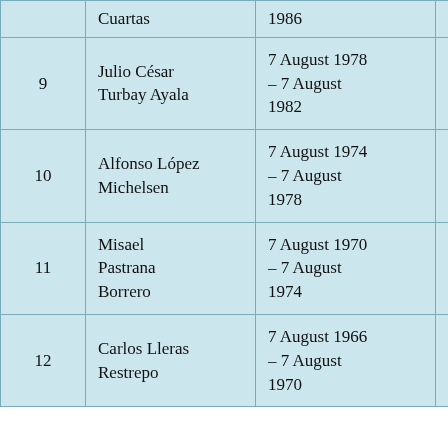| # | Name | Term | Party |
| --- | --- | --- | --- |
|  | Cuartas | 1986 |  |
| 9 | Julio César Turbay Ayala | 7 August 1978 – 7 August 1982 | Liberal |
| 10 | Alfonso López Michelsen | 7 August 1974 – 7 August 1978 | Liberal |
| 11 | Misael Pastrana Borrero | 7 August 1970 – 7 August 1974 | Conservative |
| 12 | Carlos Lleras Restrepo | 7 August 1966 – 7 August 1970 | Liberal |